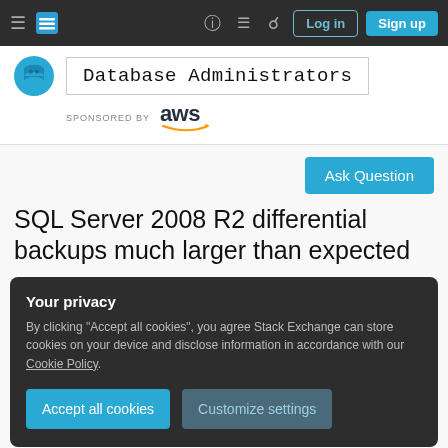Database Administrators — Stack Exchange navigation bar with Log in and Sign up buttons
[Figure (logo): Database Administrators Stack Exchange site logo with AWS sponsor]
Ask Question
SQL Server 2008 R2 differential backups much larger than expected
Your privacy
By clicking "Accept all cookies", you agree Stack Exchange can store cookies on your device and disclose information in accordance with our Cookie Policy.
[Accept all cookies] [Customize settings]